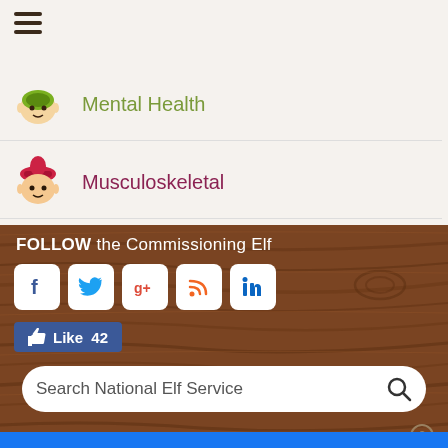[Figure (screenshot): Hamburger menu icon (three horizontal lines)]
Mental Health
Musculoskeletal
Social Care
FOLLOW the Commissioning Elf
[Figure (infographic): Social media icons row: Facebook, Twitter, Google+, RSS, LinkedIn]
[Figure (infographic): Facebook Like button showing count 42]
[Figure (screenshot): Search bar with placeholder text: Search National Elf Service]